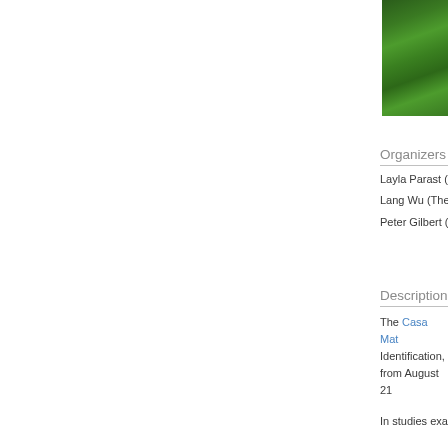[Figure (photo): Photograph of grass/lawn area, green outdoor scene, partially cropped at top-right corner of the page]
Organizers
Layla Parast (U
Lang Wu (The
Peter Gilbert (P
Description
The Casa Mat Identification, from August 21
In studies exa